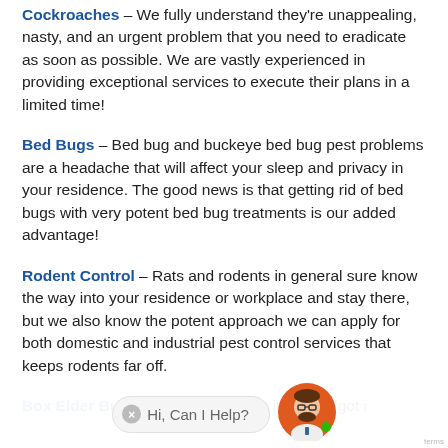Cockroaches – We fully understand they're unappealing, nasty, and an urgent problem that you need to eradicate as soon as possible. We are vastly experienced in providing exceptional services to execute their plans in a limited time!
Bed Bugs – Bed bug and buckeye bed bug pest problems are a headache that will affect your sleep and privacy in your residence. The good news is that getting rid of bed bugs with very potent bed bug treatments is our added advantage!
Rodent Control – Rats and rodents in general sure know the way into your residence or workplace and stay there, but we also know the potent approach we can apply for both domestic and industrial pest control services that keeps rodents far off.
Box Elder Bug Control – You want it, you've got it.
[Figure (other): Chat support widget with avatar icon and 'Hi, Can I Help?' message bubble]